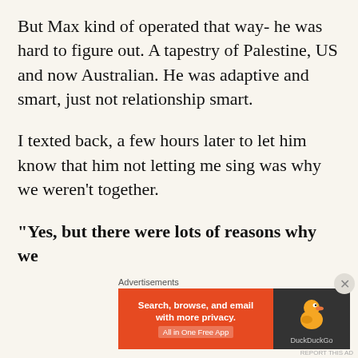But Max kind of operated that way- he was hard to figure out. A tapestry of Palestine, US and now Australian. He was adaptive and smart, just not relationship smart.
I texted back, a few hours later to let him know that him not letting me sing was why we weren't together.
“Yes, but there were lots of reasons why we were
Advertisements
[Figure (screenshot): DuckDuckGo advertisement banner: orange left panel with text 'Search, browse, and email with more privacy. All in One Free App' and dark right panel with DuckDuckGo duck logo and brand name.]